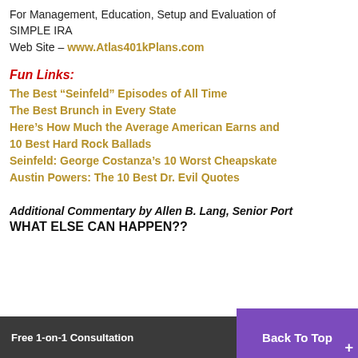For Management, Education, Setup and Evaluation of SIMPLE IRA
Web Site – www.Atlas401kPlans.com
Fun Links:
The Best “Seinfeld” Episodes of All Time
The Best Brunch in Every State
Here’s How Much the Average American Earns and
10 Best Hard Rock Ballads
Seinfeld: George Costanza’s 10 Worst Cheapskate
Austin Powers: The 10 Best Dr. Evil Quotes
Additional Commentary by Allen B. Lang, Senior Port
WHAT ELSE CAN HAPPEN??
Free 1-on-1 Consultation